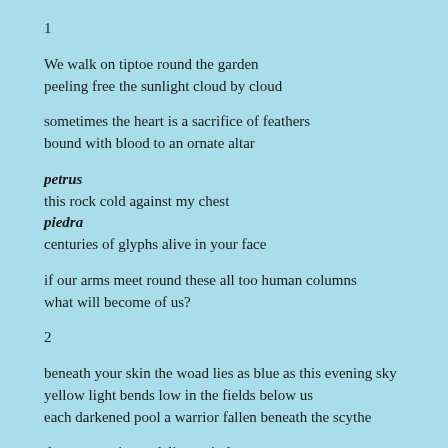1
We walk on tiptoe round the garden
peeling free the sunlight cloud by cloud
sometimes the heart is a sacrifice of feathers
bound with blood to an ornate altar
petrus
this rock cold against my chest
piedra
centuries of glyphs alive in your face
if our arms meet round these all too human columns
what will become of us?
2
beneath your skin the woad lies as blue as this evening sky
yellow light bends low in the fields below us
each darkened pool a warrior fallen beneath the scythe
the moon paints a delicate circle
its great round open eye stands out
along the surface